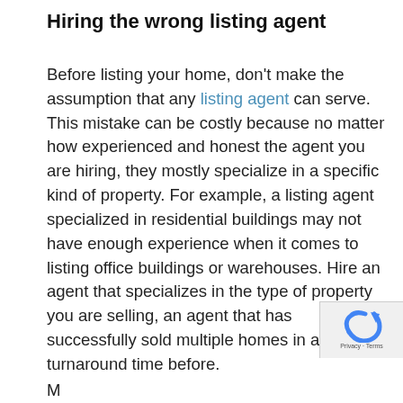Hiring the wrong listing agent
Before listing your home, don't make the assumption that any listing agent can serve. This mistake can be costly because no matter how experienced and honest the agent you are hiring, they mostly specialize in a specific kind of property. For example, a listing agent specialized in residential buildings may not have enough experience when it comes to listing office buildings or warehouses. Hire an agent that specializes in the type of property you are selling, an agent that has successfully sold multiple homes in a fast turnaround time before.
M...